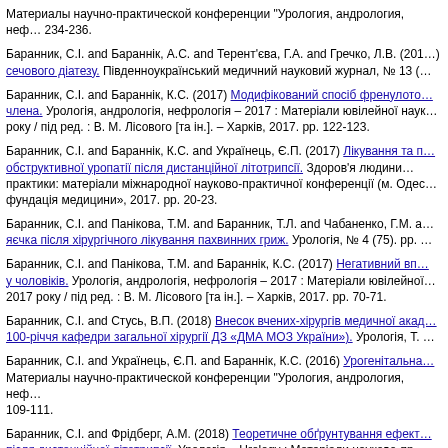Материалы научно-практической конференции "Урология, андрология, нефрология". 234-236.
Баранник, С.І. and Бараннік, А.С. and Терент'єва, Г.А. and Гречко, Л.В. (2016) [link: сечового діатезу.] Південноукраїнський медичний науковий журнал, № 13 (…)
Баранник, С.І. and Бараннік, К.С. (2017) [link: Модифікований спосіб френулото… члена.] Урологія, андрологія, нефрологія – 2017 : Матеріали ювілейної наук… року / під ред. : В. М. Лісового [та ін.]. – Харків, 2017. pp. 122-123.
Баранник, С.І. and Бараннік, К.С. and Українець, Є.П. (2017) [link: Лікування та п… обструктивної уропатії після дистанційної літотрипсії.] Здоров'я людини… практики: матеріали міжнародної науково-практичної конференції (м. Одес… фундація медицини», 2017. pp. 20-23.
Баранник, С.І. and Панікова, Т.М. and Баранник, Т.Л. and Чабаненко, Г.М. and … [link: яєчка після хірургічного лікування пахвинних гриж.] Урологія, № 4 (75). pp. …
Баранник, С.І. and Панікова, Т.М. and Бараннік, К.С. (2017) [link: Негативний вп… у чоловіків.] Урологія, андрологія, нефрологія – 2017 : Матеріали ювілейної… 2017 року / під ред. : В. М. Лісового [та ін.]. – Харків, 2017. pp. 70-71.
Баранник, С.І. and Стусь, В.П. (2018) [link: Внесок вчених-хірургів медичної акад… 100-річчя кафедри загальної хірургії ДЗ «ДМА МОЗ України»).] Урологія, Т. …
Баранник, С.І. and Українець, Є.П. and Бараннік, К.С. (2016) [link: Урогенітальна…] Материалы научно-практической конференции "Урология, андрология, неф… 109-111.
Баранник, С.І. and Фрідберг, А.М. (2018) [link: Теоретичне обґрунтування ефект… після дистанційної літотрипсії.] Урологія = Urology : Матеріали науково-пр…